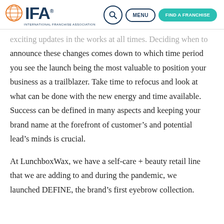IFA International Franchise Association | Search | Menu | Find a Franchise
exciting updates in the works at all times. Deciding when to announce these changes comes down to which time period you see the launch being the most valuable to position your business as a trailblazer. Take time to refocus and look at what can be done with the new energy and time available. Success can be defined in many aspects and keeping your brand name at the forefront of customer’s and potential lead’s minds is crucial.
At LunchboxWax, we have a self-care + beauty retail line that we are adding to and during the pandemic, we launched DEFINE, the brand’s first eyebrow collection.